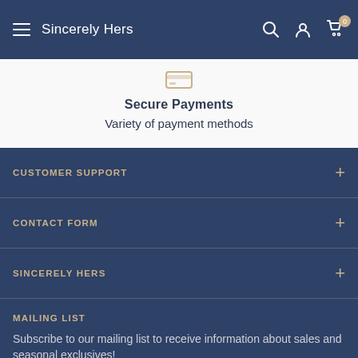Sincerely Hers
Secure Payments
Variety of payment methods
CUSTOMER SUPPORT
CONTACT FORM
SINCERELY HERS
MAILING LIST
Subscribe to our mailing list to receive information about sales and seasonal exclusives!